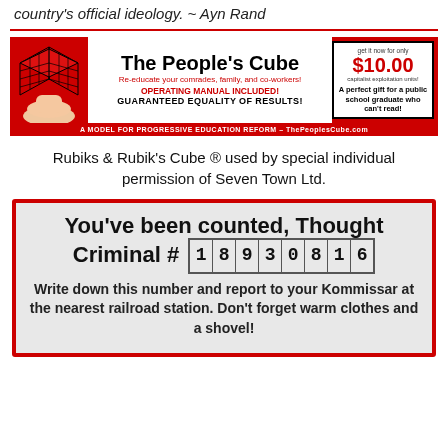country's official ideology. ~ Ayn Rand
[Figure (infographic): The People's Cube advertisement banner with a Rubik's Cube held in hand on red background. Text: 'The People's Cube', 'Re-educate your comrades, family, and co-workers!', 'OPERATING MANUAL INCLUDED!', 'GUARANTEED EQUALITY OF RESULTS!', 'A MODEL FOR PROGRESSIVE EDUCATION REFORM – ThePeoplesCube.com'. Right side box: 'get it now for only $10.00 capitalist exploitation units! A perfect gift for a public school graduate who can't read!']
Rubiks & Rubik's Cube ® used by special individual permission of Seven Town Ltd.
You've been counted, Thought Criminal # 18930816
Write down this number and report to your Kommissar at the nearest railroad station. Don't forget warm clothes and a shovel!